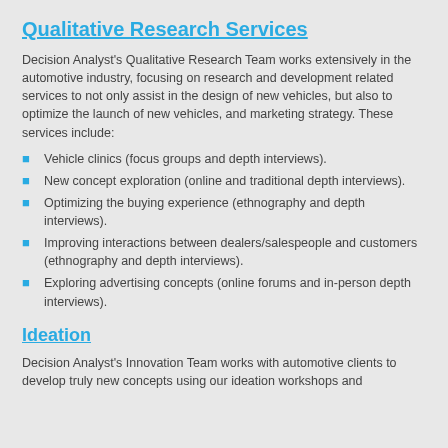Qualitative Research Services
Decision Analyst's Qualitative Research Team works extensively in the automotive industry, focusing on research and development related services to not only assist in the design of new vehicles, but also to optimize the launch of new vehicles, and marketing strategy. These services include:
Vehicle clinics (focus groups and depth interviews).
New concept exploration (online and traditional depth interviews).
Optimizing the buying experience (ethnography and depth interviews).
Improving interactions between dealers/salespeople and customers (ethnography and depth interviews).
Exploring advertising concepts (online forums and in-person depth interviews).
Ideation
Decision Analyst's Innovation Team works with automotive clients to develop truly new concepts using our ideation workshops and